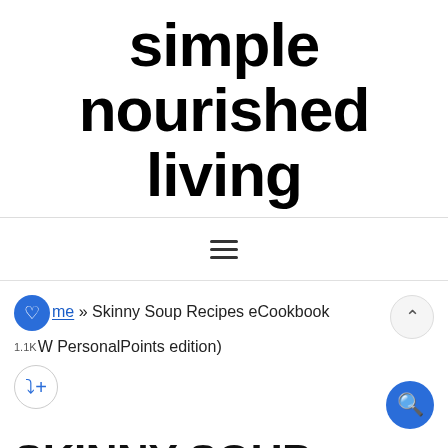simple nourished living
Menu (hamburger navigation icon)
Home » Skinny Soup Recipes eCookbook 1.1K W PersonalPoints edition)
SKINNY SOUP RECIPES ECOOKBOOK (WW PERSONAL POINTS